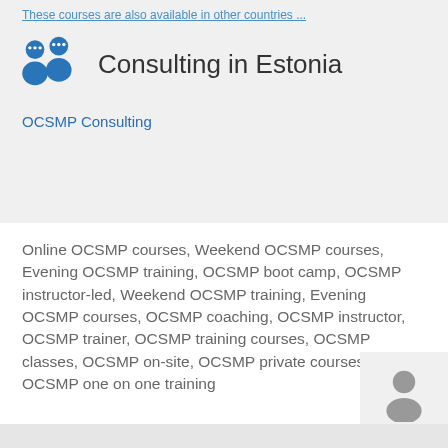These courses are also available in other countries ...
Consulting in Estonia
OCSMP Consulting
Online OCSMP courses, Weekend OCSMP courses, Evening OCSMP training, OCSMP boot camp, OCSMP instructor-led, Weekend OCSMP training, Evening OCSMP courses, OCSMP coaching, OCSMP instructor, OCSMP trainer, OCSMP training courses, OCSMP classes, OCSMP on-site, OCSMP private courses, OCSMP one on one training